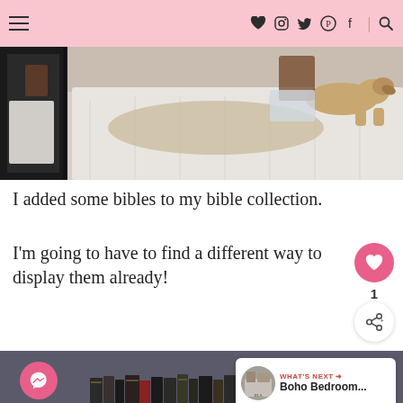Navigation header with hamburger menu and social icons (heart, Instagram, Twitter, Pinterest, Facebook, search)
[Figure (photo): Photo of a bedroom with a white bedspread and a dog lying on the bed, with a mirror on the left reflecting the room]
I added some bibles to my bible collection.
I'm going to have to find a different way to display them already!
[Figure (photo): Photo of books (bibles) lined up on a dark gray/blue textured wall shelf, viewed from below. A pink Messenger chat button is visible in the lower left. A 'What's Next' card shows 'Boho Bedroom...' in the lower right corner.]